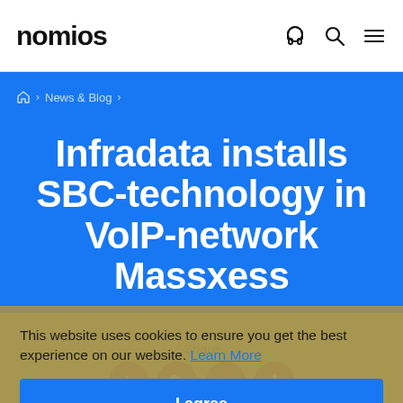nomios
🏠 > News & Blog >
Infradata installs SBC-technology in VoIP-network Massxess
This website uses cookies to ensure you get the best experience on our website. Learn More
I agree
Share